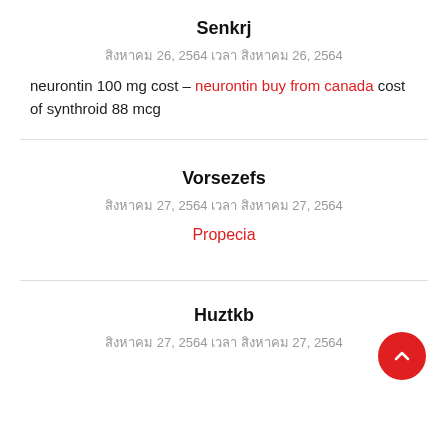Senkrj
สิงหาคม 26, 2564 เวลา สิงหาคม 26, 2564
neurontin 100 mg cost – neurontin buy from canada cost of synthroid 88 mcg
Vorsezefs
สิงหาคม 27, 2564 เวลา สิงหาคม 27, 2564
Propecia
Huztkb
สิงหาคม 27, 2564 เวลา สิงหาคม 27, 2564